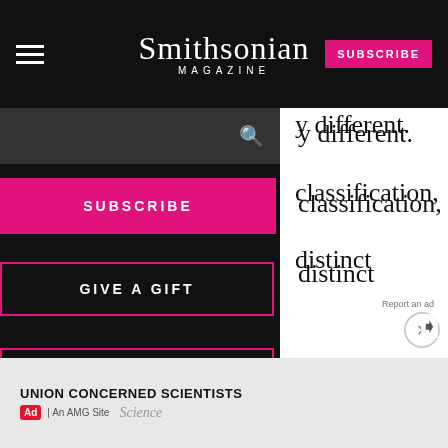Smithsonian MAGAZINE
y different. classification, distinct
SUBSCRIBE
GIVE A GIFT
RENEW
ut what you you all no, curator of at the ys defined as erent from
UNION CONCERNED SCIENTISTS
Ad | An AMG Site Science
Report an ad